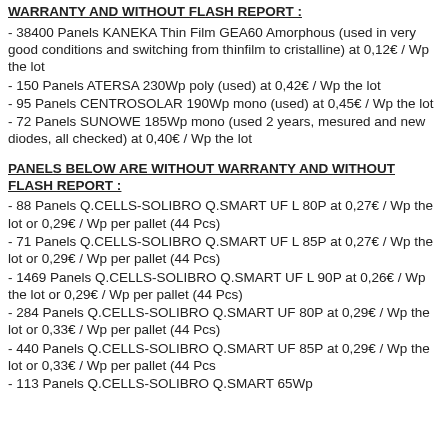WARRANTY AND WITHOUT FLASH REPORT :
- 38400 Panels KANEKA Thin Film GEA60 Amorphous (used in very good conditions and switching from thinfilm to cristalline) at 0,12€ / Wp the lot
- 150 Panels ATERSA 230Wp poly (used) at 0,42€ / Wp the lot
- 95 Panels CENTROSOLAR 190Wp mono (used) at 0,45€ / Wp the lot
- 72 Panels SUNOWE 185Wp mono (used 2 years, mesured and new diodes, all checked) at 0,40€ / Wp the lot
PANELS BELOW ARE WITHOUT WARRANTY AND WITHOUT FLASH REPORT :
- 88 Panels Q.CELLS-SOLIBRO Q.SMART UF L 80P at 0,27€ / Wp the lot or 0,29€ / Wp per pallet (44 Pcs)
- 71 Panels Q.CELLS-SOLIBRO Q.SMART UF L 85P at 0,27€ / Wp the lot or 0,29€ / Wp per pallet (44 Pcs)
- 1469 Panels Q.CELLS-SOLIBRO Q.SMART UF L 90P at 0,26€ / Wp the lot or 0,29€ / Wp per pallet (44 Pcs)
- 284 Panels Q.CELLS-SOLIBRO Q.SMART UF 80P at 0,29€ / Wp the lot or 0,33€ / Wp per pallet (44 Pcs)
- 440 Panels Q.CELLS-SOLIBRO Q.SMART UF 85P at 0,29€ / Wp the lot or 0,33€ / Wp per pallet (44 Pcs
- 113 Panels Q.CELLS-SOLIBRO Q.SMART 65Wp